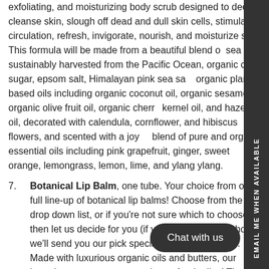exfoliating, and moisturizing body scrub designed to deep cleanse skin, slough off dead and dull skin cells, stimulate circulation, refresh, invigorate, nourish, and moisturize skin. This formula will be made from a beautiful blend of sea salt sustainably harvested from the Pacific Ocean, organic cane sugar, epsom salt, Himalayan pink sea salt, organic plant-based oils including organic coconut oil, organic sesame oil, organic olive fruit oil, organic cherry kernel oil, and hazelnut oil, decorated with calendula, cornflower, and hibiscus flowers, and scented with a joyful blend of pure and organic essential oils including pink grapefruit, ginger, sweet orange, lemongrass, lemon, lime, and ylang ylang.
Botanical Lip Balm, one tube. Your choice from our full line-up of botanical lip balms! Choose from the drop down list, or if you're not sure which to choose, then let us decide for you (if you select the last choice, we'll send you our pick specially chosen for you!). Made with luxurious organic oils and butters, our botanical lip balms are a real treat for the lips! They are creamy, conditioning, protective, nourishing, and smooth. Each tube is handcrafted in small batches in our